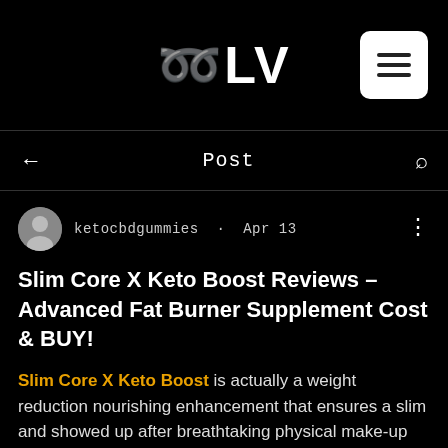[Figure (logo): TLV logo in white blocky text on black background, with a white rounded square hamburger menu button on the right]
← Post 🔍
ketocbdgummies · Apr 13
Slim Core X Keto Boost Reviews – Advanced Fat Burner Supplement Cost & BUY!
Slim Core X Keto Boost is actually a weight reduction nourishing enhancement that ensures a slim and showed up after breathtaking physical make-up framework